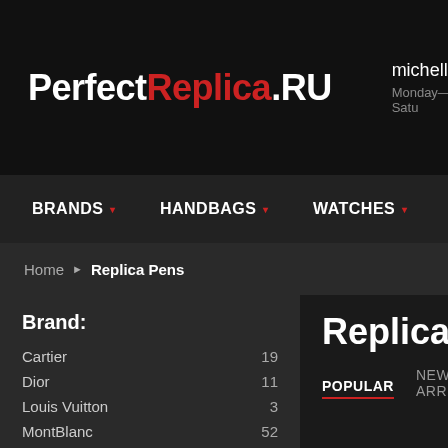PerfectReplica.RU | michelle | Monday—Satu
BRANDS ▾   HANDBAGS ▾   WATCHES ▾   JEWELRY ▾   SHO
Home ▶ Replica Pens
Brand:
Cartier 19
Dior 11
Louis Vuitton 3
MontBlanc 52
Rolex 11
Replica Pen
POPULAR   NEW ARR